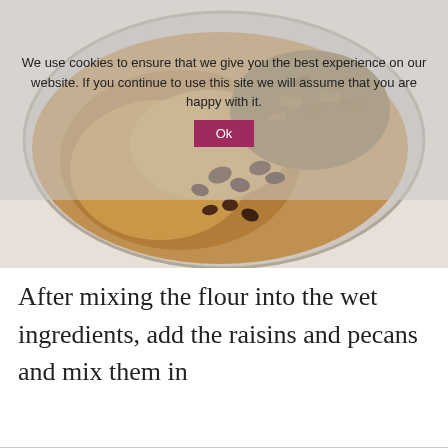[Figure (photo): A glass mixing bowl containing batter with raisins and chopped pecans being added on top, with a cookie consent banner overlay showing 'We use cookies to ensure that we give you the best experience on our website. If you continue to use this site we will assume that you are happy with it' and an OK button]
After mixing the flour into the wet ingredients, add the raisins and pecans and mix them in